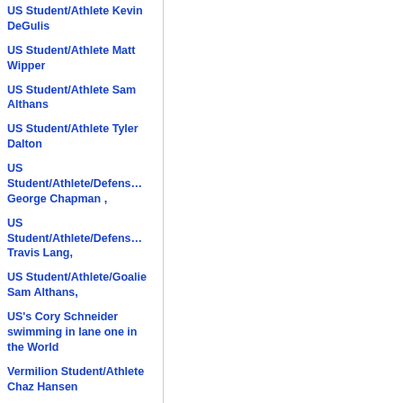US Student/Athlete Kevin DeGulis
US Student/Athlete Matt Wipper
US Student/Athlete Sam Althans
US Student/Athlete Tyler Dalton
US Student/Athlete/Defens… George Chapman ,
US Student/Athlete/Defens… Travis Lang,
US Student/Athlete/Goalie Sam Althans,
US's Cory Schneider swimming in lane one in the World
Vermilion Student/Athlete Chaz Hansen
Vermilion's Tim Clark after pitching against B-W